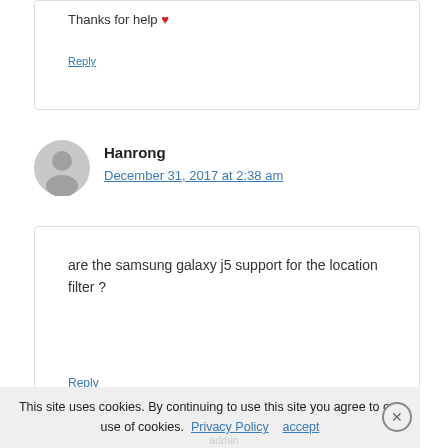Thanks for help ❤
Reply
Hanrong
December 31, 2017 at 2:38 am
are the samsung galaxy j5 support for the location filter ?
Reply
This site uses cookies. By continuing to use this site you agree to our use of cookies. Privacy Policy   accept